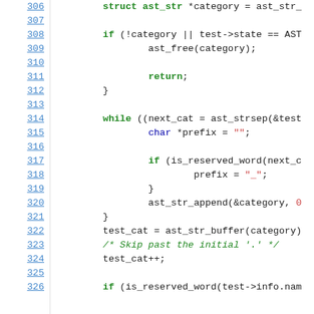[Figure (screenshot): Source code listing in C showing lines 306-326 of a code file. Line numbers are shown on the left in blue underlined text. Code uses syntax highlighting: keywords in green bold, strings in red, comments in green italic, plain code in dark gray. The code shows struct declarations, if/while control flow, and function calls related to AST string manipulation.]